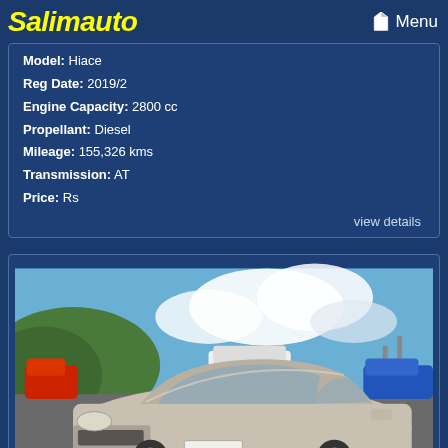Salimauto
Model: Hiace
Reg Date: 2019/2
Engine Capacity: 2800 cc
Propellant: Diesel
Mileage: 155,326 kms
Transmission: AT
Price: Rs
view details
[Figure (photo): Silver sedan/MPV car parked in a parking lot with other vehicles, green hills and blue sky with clouds in background]